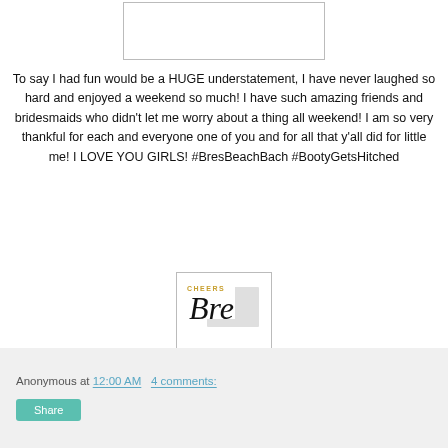[Figure (illustration): Rectangular bordered image placeholder at top center of page]
To say I had fun would be a HUGE understatement, I have never laughed so hard and enjoyed a weekend so much! I have such amazing friends and bridesmaids who didn't let me worry about a thing all weekend! I am so very thankful for each and everyone one of you and for all that y'all did for little me! I LOVE YOU GIRLS! #BresBeachBach #BootyGetsHitched
[Figure (logo): Signature/logo box with 'CHEERS' text and 'Bre' in cursive script, with gray shadow element]
Anonymous at 12:00 AM   4 comments:
Share